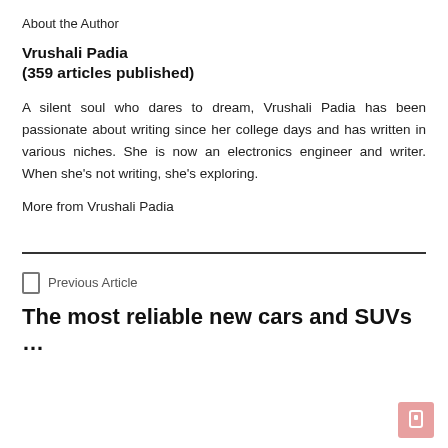About the Author
Vrushali Padia
(359 articles published)
A silent soul who dares to dream, Vrushali Padia has been passionate about writing since her college days and has written in various niches. She is now an electronics engineer and writer. When she’s not writing, she’s exploring.
More from Vrushali Padia
Previous Article
The most reliable new cars and SUVs …